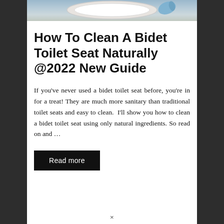[Figure (photo): Photo of a person wearing blue gloves cleaning a bidet toilet seat, cropped to show only the top portion]
How To Clean A Bidet Toilet Seat Naturally @2022 New Guide
If you've never used a bidet toilet seat before, you're in for a treat! They are much more sanitary than traditional toilet seats and easy to clean.  I'll show you how to clean a bidet toilet seat using only natural ingredients. So read on and …